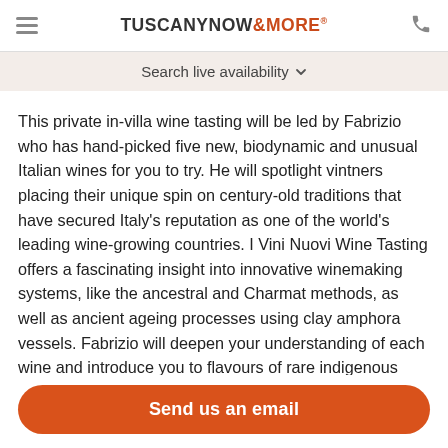TUSCANY NOW & MORE®
Search live availability
This private in-villa wine tasting will be led by Fabrizio who has hand-picked five new, biodynamic and unusual Italian wines for you to try. He will spotlight vintners placing their unique spin on century-old traditions that have secured Italy's reputation as one of the world's leading wine-growing countries. I Vini Nuovi Wine Tasting offers a fascinating insight into innovative winemaking systems, like the ancestral and Charmat methods, as well as ancient ageing processes using clay amphora vessels. Fabrizio will deepen your understanding of each wine and introduce you to flavours of rare indigenous grape varieties, while readling
Send us an email